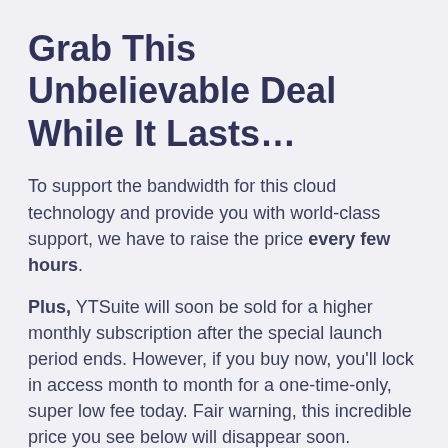Grab This Unbelievable Deal While It Lasts…
To support the bandwidth for this cloud technology and provide you with world-class support, we have to raise the price every few hours.
Plus, YTSuite will soon be sold for a higher monthly subscription after the special launch period ends. However, if you buy now, you'll lock in access month to month for a one-time-only, super low fee today. Fair warning, this incredible price you see below will disappear soon.